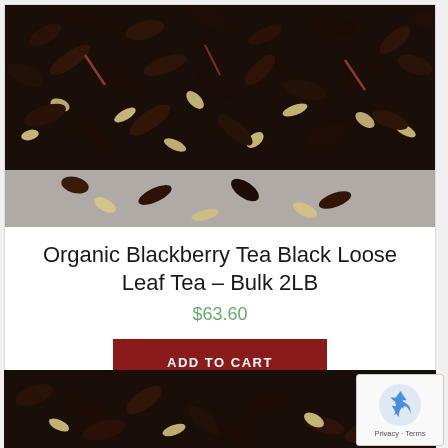[Figure (photo): Close-up photo of loose leaf black tea blend with dark twisted leaves and pale green/yellow leaf pieces scattered throughout, on a white surface]
Organic Blackberry Tea Black Loose Leaf Tea – Bulk 2LB
$63.60
ADD TO CART
[Figure (photo): Close-up photo of loose leaf black tea blend, similar to the first image, partially visible at bottom of page]
[Figure (other): reCAPTCHA badge with Google reCAPTCHA logo and Privacy - Terms links]